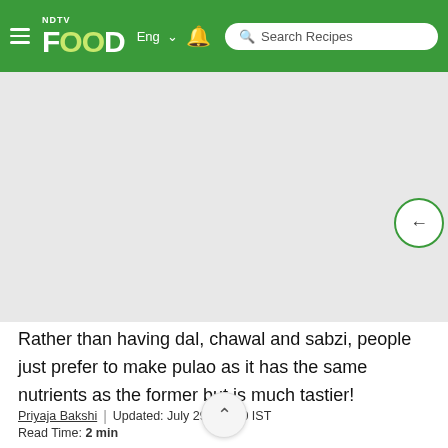NDTV Food — Eng | Search Recipes
[Figure (photo): Gray image placeholder area below the navigation header]
Rather than having dal, chawal and sabzi, people just prefer to make pulao as it has the same nutrients as the former but is much tastier!
Priyaja Bakshi | Updated: July 29, ... 0:40 IST
Read Time: 2 min